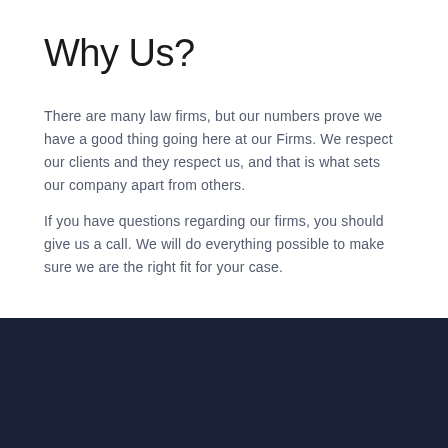Why Us?
There are many law firms, but our numbers prove we have a good thing going here at our Firms. We respect our clients and they respect us, and that is what sets our company apart from others.
If you have questions regarding our firms, you should give us a call. We will do everything possible to make sure we are the right fit for your case.